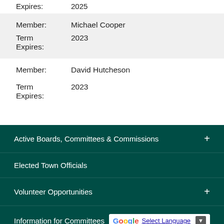Expires: 2025
| Member: | Michael Cooper |
| Term Expires: | 2023 |
| Member: | David Hutcheson |
| Term Expires: | 2023 |
Active Boards, Committees & Commissions +
Elected Town Officials
Volunteer Opportunities +
Information for Committees